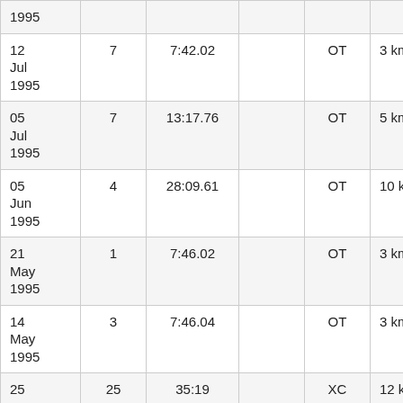| Date | Place | Time | Col4 | Type | Distance | Col7 |
| --- | --- | --- | --- | --- | --- | --- |
| 1995 |  |  |  |  |  |  |
| 12 Jul 1995 | 7 | 7:42.02 |  | OT | 3 km | N |
| 05 Jul 1995 | 7 | 13:17.76 |  | OT | 5 km | L |
| 05 Jun 1995 | 4 | 28:09.61 |  | OT | 10 km | K |
| 21 May 1995 | 1 | 7:46.02 |  | OT | 3 km | N N |
| 14 May 1995 | 3 | 7:46.04 |  | OT | 3 km | S B |
| 25 | 25 | 35:19 |  | XC | 12 km | D |